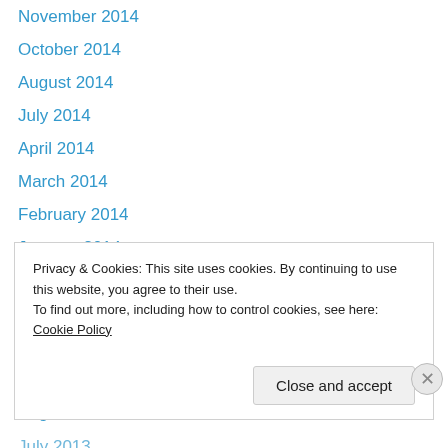November 2014
October 2014
August 2014
July 2014
April 2014
March 2014
February 2014
January 2014
December 2013
November 2013
October 2013
September 2013
August 2013
July 2013
Privacy & Cookies: This site uses cookies. By continuing to use this website, you agree to their use. To find out more, including how to control cookies, see here: Cookie Policy
Close and accept